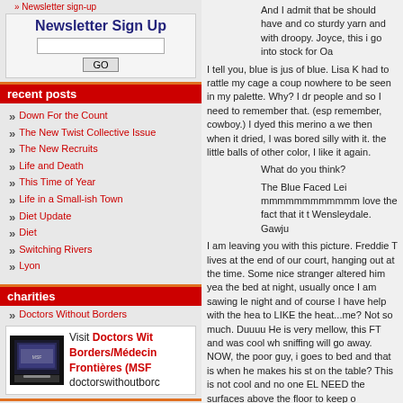» Newsletter sign-up
Newsletter Sign Up
recent posts
» Down For the Count
» The New Twist Collective Issue
» The New Recruits
» Life and Death
» This Time of Year
» Life in a Small-ish Town
» Diet Update
» Diet
» Switching Rivers
» Lyon
charities
» Doctors Without Borders
[Figure (photo): Doctors Without Borders/Médecins Sans Frontières (MSF) banner with laptop image and text: Visit Doctors Without Borders/Médecin Frontières (MSF) doctorswithoutborders]
who i am reading
And I admit that be should have and co sturdy yarn and with droopy. Joyce, this i go into stock for Oa
I tell you, blue is jus of blue. Lisa K had to rattle my cage a coup nowhere to be seen in my palette. Why? I dr people and so I need to remember that. (esp remember, cowboy.) I dyed this merino a we then when it dried, I was bored silly with it. the little balls of other color, I like it again.
What do you think?
The Blue Faced Lei mmmmmmmmmmm love the fact that it t Wensleydale. Gawju
I am leaving you with this picture. Freddie T lives at the end of our court, hanging out at the time. Some nice stranger altered him yea the bed at night, usually once I am sawing le night and of course I have help with the hea to LIKE the heat...me? Not so much. Duuuu He is very mellow, this FT and was cool wh sniffing will go away. NOW, the poor guy, i goes to bed and that is when he makes his st on the table? This is not cool and no one EL NEED the surfaces above the floor to keep o